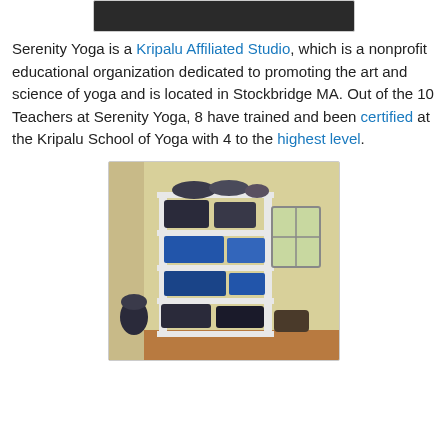[Figure (photo): Top partial image, dark background, cropped at top of page]
Serenity Yoga is a Kripalu Affiliated Studio, which is a nonprofit educational organization dedicated to promoting the art and science of yoga and is located in Stockbridge MA. Out of the 10 Teachers at Serenity Yoga, 8 have trained and been certified at the Kripalu School of Yoga with 4 to the highest level.
[Figure (photo): Photo of a white shelving unit filled with rolled yoga mats and blue storage bins, in a yellow-walled room]